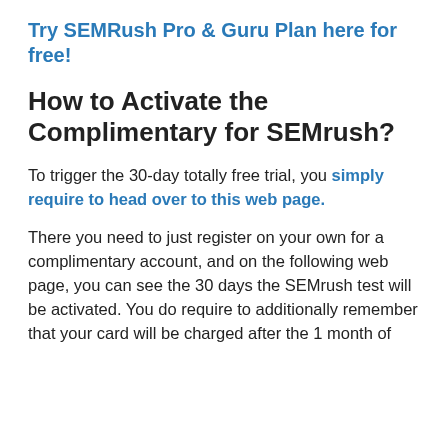Try SEMRush Pro & Guru Plan here for free!
How to Activate the Complimentary for SEMrush?
To trigger the 30-day totally free trial, you simply require to head over to this web page.
There you need to just register on your own for a complimentary account, and on the following web page, you can see the 30 days the SEMrush test will be activated. You do require to additionally remember that your card will be charged after the 1 month of